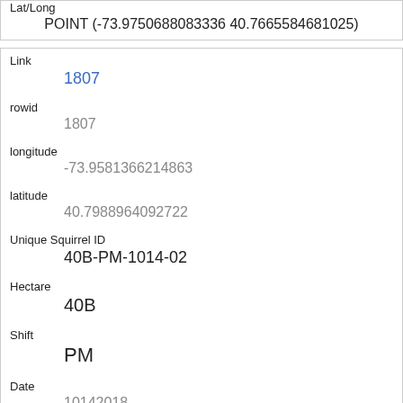| Field | Value |
| --- | --- |
| Lat/Long | POINT (-73.9750688083336 40.7665584681025) |
| Link | 1807 |
| rowid | 1807 |
| longitude | -73.9581366214863 |
| latitude | 40.7988964092722 |
| Unique Squirrel ID | 40B-PM-1014-02 |
| Hectare | 40B |
| Shift | PM |
| Date | 10142018 |
| Hectare Squirrel Number | 2 |